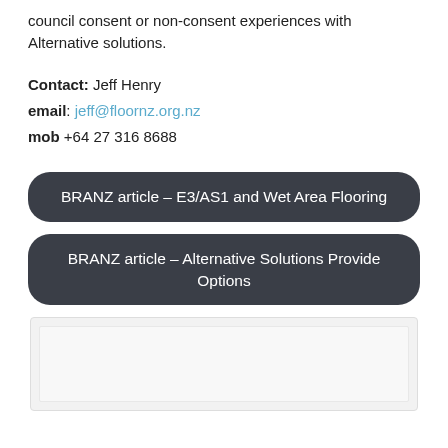council consent or non-consent experiences with Alternative solutions.
Contact: Jeff Henry
email: jeff@floornz.org.nz
mob +64 27 316 8688
BRANZ article – E3/AS1 and Wet Area Flooring
BRANZ article – Alternative Solutions Provide Options
[Figure (photo): Placeholder image box at bottom of page]